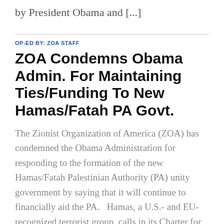by President Obama and [...]
OP-ED BY: ZOA Staff
ZOA Condemns Obama Admin. For Maintaining Ties/Funding To New Hamas/Fatah PA Govt.
The Zionist Organization of America (ZOA) has condemned the Obama Administration for responding to the formation of the new Hamas/Fatah Palestinian Authority (PA) unity government by saying that it will continue to financially aid the PA.  Hamas, a U.S.- and EU-recognized terrorist group, calls in its Charter for the global murder of Jews (Article 7) [...]